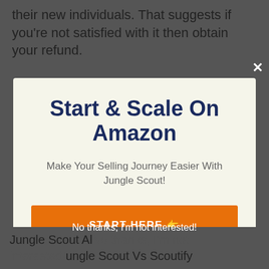their new individuals. That suggests if you're not satisfied with it then obtain your refund.
[Figure (screenshot): Modal popup with close X button, title 'Start & Scale On Amazon', subtitle 'Make Your Selling Journey Easier With Jungle Scout!', and orange START HERE button with pointing finger emoji]
Start & Scale On Amazon
Make Your Selling Journey Easier With Jungle Scout!
START HERE 👉
No thanks, I'm not interested!
Jungle Scout Al… Jungle Scout Vs Scoutify